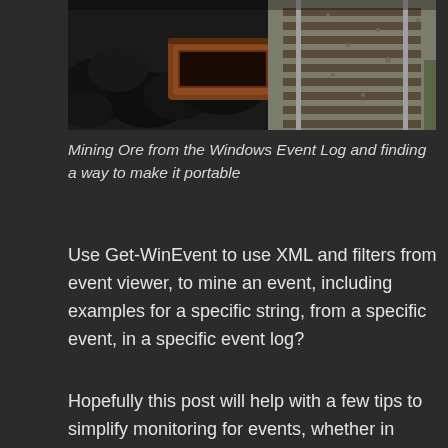[Figure (photo): Photo of coal or dark rocks on the left side and a railway track viewed from above on the right, with gravel surroundings. Dark, industrial scene.]
Mining Ore from the Windows Event Log and finding a way to make it portable
Use Get-WinEvent to use XML and filters from event viewer, to mine an event, including examples for a specific string, from a specific event, in a specific event log?
Hopefully this post will help with a few tips to simplify monitoring for events, whether in AzMon, SCOM, or via